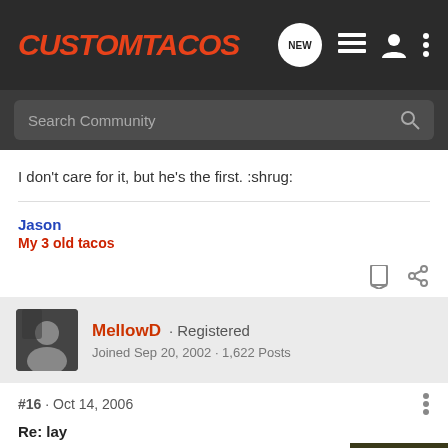CustomTacos
I don't care for it, but he's the first. :shrug:
Jason
My 3 old tacos
MellowD · Registered
Joined Sep 20, 2002 · 1,622 Posts
#16 · Oct 14, 2006
Re: lay
[Figure (screenshot): Pelican CARGO BX55S advertisement with SHOP NOW button]